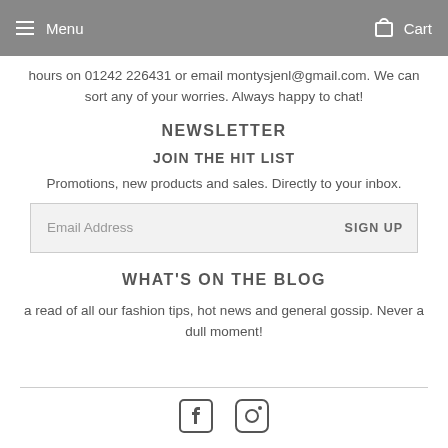Menu  Cart
hours on 01242 226431 or email montysjenl@gmail.com. We can sort any of your worries. Always happy to chat!
NEWSLETTER
JOIN THE HIT LIST
Promotions, new products and sales. Directly to your inbox.
Email Address  SIGN UP
WHAT'S ON THE BLOG
a read of all our fashion tips, hot news and general gossip. Never a dull moment!
[Figure (illustration): Facebook and Instagram social media icons in a row]